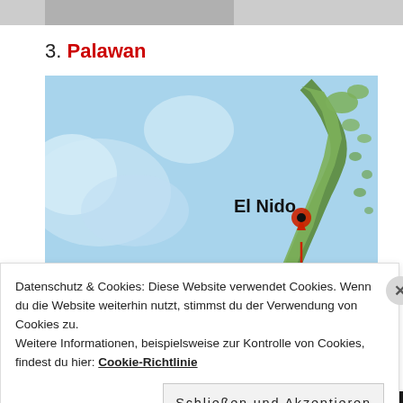[Figure (other): Partial cropped image strip at top of page]
3. Palawan
[Figure (map): Map of Palawan island, Philippines, with El Nido labeled and marked with a red dot and arrow]
Datenschutz & Cookies: Diese Website verwendet Cookies. Wenn du die Website weiterhin nutzt, stimmst du der Verwendung von Cookies zu.
Weitere Informationen, beispielsweise zur Kontrolle von Cookies, findest du hier: Cookie-Richtlinie
Schließen und Akzeptieren